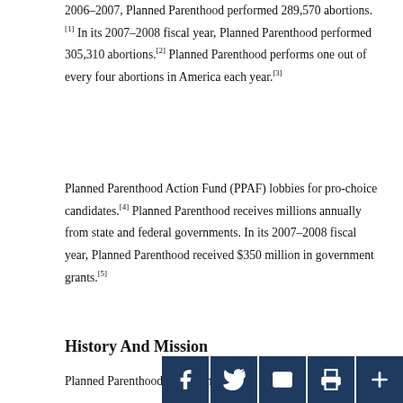2006–2007, Planned Parenthood performed 289,570 abortions.[1] In its 2007–2008 fiscal year, Planned Parenthood performed 305,310 abortions.[2] Planned Parenthood performs one out of every four abortions in America each year.[3]
Planned Parenthood Action Fund (PPAF) lobbies for pro-choice candidates.[4] Planned Parenthood receives millions annually from state and federal governments. In its 2007–2008 fiscal year, Planned Parenthood received $350 million in government grants.[5]
History And Mission
Planned Parenthood, although not officially established until 1942, traces its origins to 1916